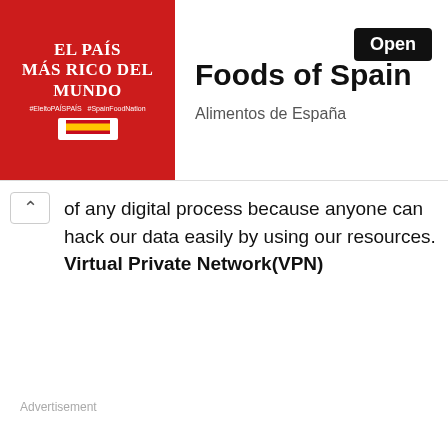[Figure (screenshot): Advertisement banner for 'Foods of Spain / Alimentos de España' with red left panel showing 'EL PAÍS MÁS RICO DEL MUNDO' text and a dark Open button on the right]
of any digital process because anyone can hack our data easily by using our resources. Virtual Private Network(VPN)
Advertisement